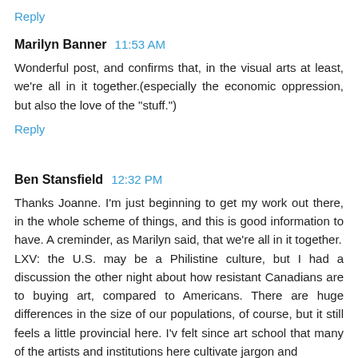Reply
Marilyn Banner  11:53 AM
Wonderful post, and confirms that, in the visual arts at least, we're all in it together.(especially the economic oppression, but also the love of the "stuff.")
Reply
Ben Stansfield  12:32 PM
Thanks Joanne. I'm just beginning to get my work out there, in the whole scheme of things, and this is good information to have. A creminder, as Marilyn said, that we're all in it together.
LXV: the U.S. may be a Philistine culture, but I had a discussion the other night about how resistant Canadians are to buying art, compared to Americans. There are huge differences in the size of our populations, of course, but it still feels a little provincial here. I'v felt since art school that many of the artists and institutions here cultivate jargon and